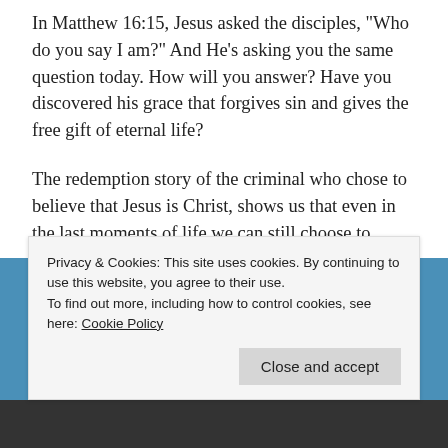In Matthew 16:15, Jesus asked the disciples, “Who do you say I am?” And He’s asking you the same question today. How will you answer? Have you discovered his grace that forgives sin and gives the free gift of eternal life?
The redemption story of the criminal who chose to believe that Jesus is Christ, shows us that even in the last moments of life we can still choose to believe and accept Jesus as our Savior. However, we don’t always know when that last moment will come and you may not have the chance to decide then. Now is the day the
Privacy & Cookies: This site uses cookies. By continuing to use this website, you agree to their use.
To find out more, including how to control cookies, see here: Cookie Policy
Close and accept